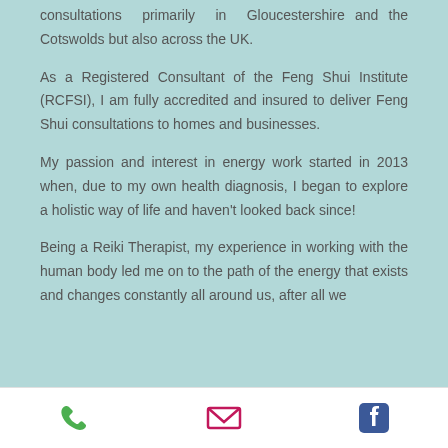consultations primarily in Gloucestershire and the Cotswolds but also across the UK.
As a Registered Consultant of the Feng Shui Institute (RCFSI), I am fully accredited and insured to deliver Feng Shui consultations to homes and businesses.
My passion and interest in energy work started in 2013 when, due to my own health diagnosis, I began to explore a holistic way of life and haven't looked back since!
Being a Reiki Therapist, my experience in working with the human body led me on to the path of the energy that exists and changes constantly all around us, after all we
[Figure (infographic): Footer bar with three icons: green phone icon, pink/red email envelope icon, blue Facebook icon]